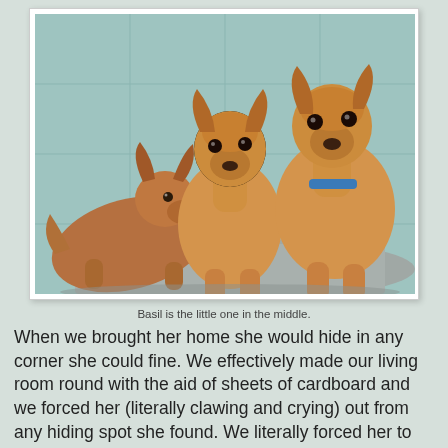[Figure (photo): Three tan/golden sighthound dogs in a shelter kennel. One smaller dog lies on the left, one medium dog sits in the center, and one slightly larger dog with a blue collar sits on the right. They are on a gray mat against a light teal/blue tiled wall.]
Basil is the little one in the middle.
When we brought her home she would hide in any corner she could fine. We effectively made our living room round with the aid of sheets of cardboard and we forced her (literally clawing and crying) out from any hiding spot she found. We literally forced her to be our friend, and I can still remember slumping down after a long day, head in hands, wondering if this had been a huge mistake, like